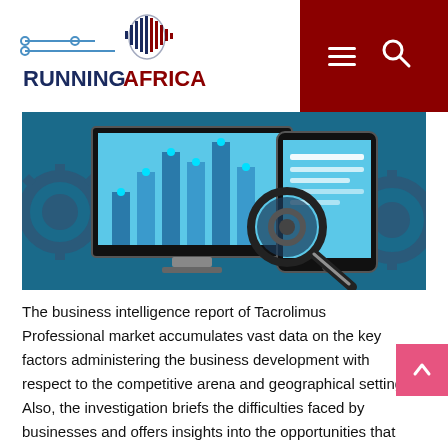RUNNINGAFRICA
[Figure (illustration): Business intelligence / market research illustration: a monitor showing bar charts, a tablet with data lines, a magnifying glass, and mechanical gears, all in blue tones]
The business intelligence report of Tacrolimus Professional market accumulates vast data on the key factors administering the business development with respect to the competitive arena and geographical setting. Also, the investigation briefs the difficulties faced by businesses and offers insights into the opportunities that will help the industry progress in unexplored areas. Moreover, the report encases contextual studies on the COVID-19 analysis for entry area applications of the